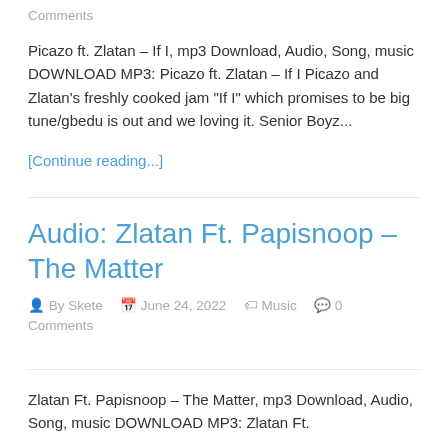Comments
Picazo ft. Zlatan – If I, mp3 Download, Audio, Song, music DOWNLOAD MP3: Picazo ft. Zlatan – If I Picazo and Zlatan's freshly cooked jam "If I" which promises to be big tune/gbedu is out and we loving it. Senior Boyz...
[Continue reading...]
Audio: Zlatan Ft. Papisnoop – The Matter
By Skete   June 24, 2022   Music   0 Comments
Zlatan Ft. Papisnoop – The Matter, mp3 Download, Audio, Song, music DOWNLOAD MP3: Zlatan Ft.